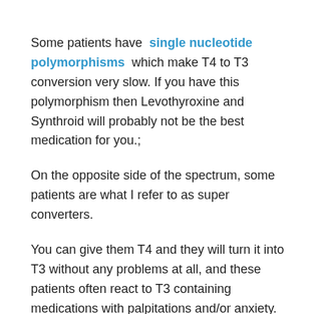Some patients have single nucleotide polymorphisms which make T4 to T3 conversion very slow. If you have this polymorphism then Levothyroxine and Synthroid will probably not be the best medication for you.;
On the opposite side of the spectrum, some patients are what I refer to as super converters.
You can give them T4 and they will turn it into T3 without any problems at all, and these patients often react to T3 containing medications with palpitations and/or anxiety.
Another subgroup of patients have reactions to the INACTIVE ingredients in Levothyroxine and Synthroid which